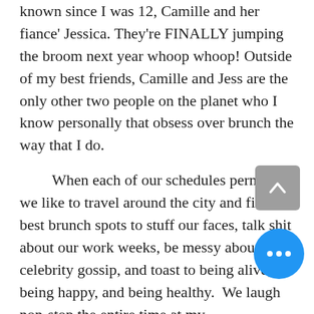known since I was 12, Camille and her fiance' Jessica. They're FINALLY jumping the broom next year whoop whoop! Outside of my best friends, Camille and Jess are the only other two people on the planet who I know personally that obsess over brunch the way that I do.

When each of our schedules permit, we like to travel around the city and find the best brunch spots to stuff our faces, talk shit about our work weeks, be messy about celebrity gossip, and toast to being alive, being happy, and being healthy.  We laugh non-stop the entire time at my #DatingChronicles, Cam crazy #PolicePursuits, Jessica's #HospitalHorrorStories (she's an RN),